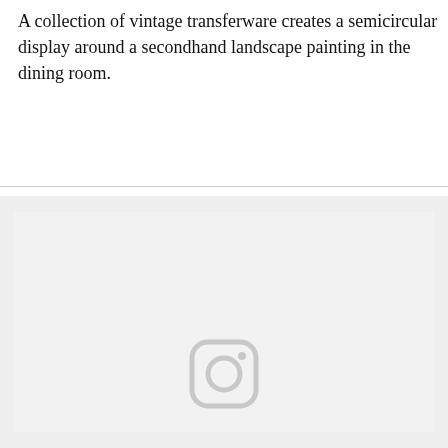A collection of vintage transferware creates a semicircular display around a secondhand landscape painting in the dining room.
[Figure (photo): A large light gray placeholder image area with an Instagram logo icon centered near the bottom, indicating an image that failed to load or is pending.]